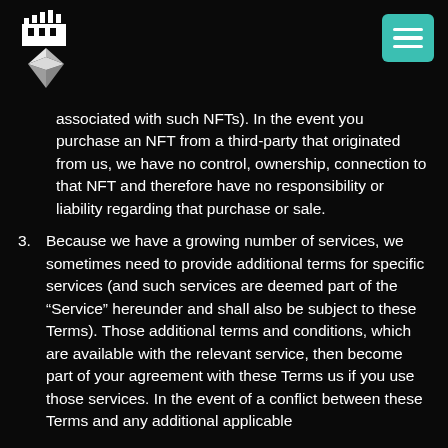Logo and menu navigation header
associated with such NFTs). In the event you purchase an NFT from a third-party that originated from us, we have no control, ownership, connection to that NFT and therefore have no responsibility or liability regarding that purchase or sale.
3. Because we have a growing number of services, we sometimes need to provide additional terms for specific services (and such services are deemed part of the “Service” hereunder and shall also be subject to these Terms). Those additional terms and conditions, which are available with the relevant service, then become part of your agreement with these Terms us if you use those services. In the event of a conflict between these Terms and any additional applicable